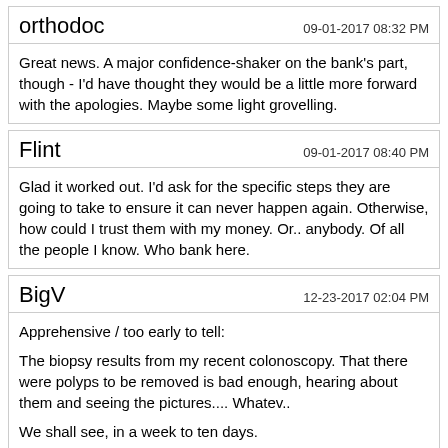orthodoc | 09-01-2017 08:32 PM
Great news. A major confidence-shaker on the bank's part, though - I'd have thought they would be a little more forward with the apologies. Maybe some light grovelling.
Flint | 09-01-2017 08:40 PM
Glad it worked out. I'd ask for the specific steps they are going to take to ensure it can never happen again. Otherwise, how could I trust them with my money. Or.. anybody. Of all the people I know. Who bank here.
BigV | 12-23-2017 02:04 PM
Apprehensive / too early to tell:

The biopsy results from my recent colonoscopy. That there were polyps to be removed is bad enough, hearing about them and seeing the pictures.... Whatev..

We shall see, in a week to ten days.
sexobon | 12-23-2017 02:17 PM
Now you have to trade in your alcohol for green tea.